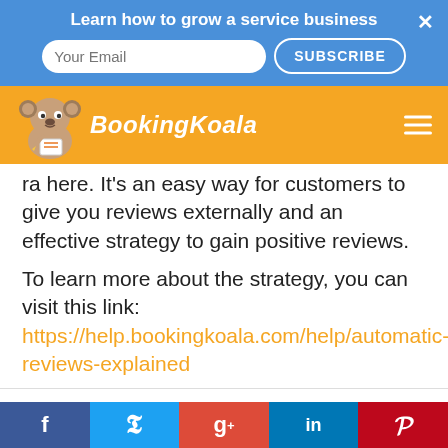Learn how to grow a service business
[Figure (logo): BookingKoala logo with koala mascot holding a clipboard]
ra here. It's an easy way for customers to give you reviews externally and an effective strategy to gain positive reviews.
To learn more about the strategy, you can visit this link: https://help.bookingkoala.com/help/automatic-reviews-explained
This website uses cookies to deliver you a better experience. You can opt out at any time.